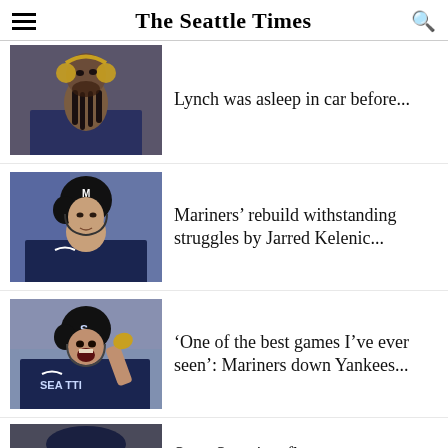The Seattle Times
Lynch was asleep in car before...
[Figure (photo): Baseball player wearing headphones looking upward, in Mariners uniform]
Mariners' rebuild withstanding struggles by Jarred Kelenic...
[Figure (photo): Baseball player in Mariners helmet and uniform, looking to the side with intense expression]
'One of the best games I've ever seen': Mariners down Yankees...
[Figure (photo): Baseball player in Mariners uniform celebrating with mouth open, wearing helmet, SEA TTI visible on jersey]
Scott Servais reflects on
[Figure (photo): Person in baseball cap, partially visible at bottom of page]